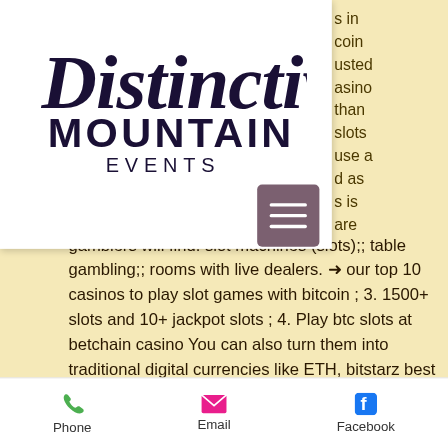[Figure (logo): Distinctive Mountain Events logo — cursive 'Distinctive' above serif 'MOUNTAIN' and spaced caps 'EVENTS']
s in
coin
usted
asino
than
slots
use a
d as
s is
are
[Figure (other): Hamburger menu icon button (three horizontal lines on dark mauve background)]
gamblers will find: slot machines (slots);; table gambling;; rooms with live dealers. ➜ our top 10 casinos to play slot games with bitcoin ; 3. 1500+ slots and 10+ jackpot slots ; 4. Play btc slots at betchain casino You can also turn them into traditional digital currencies like ETH, bitstarz best slots. Some online crypto gambling sites will offer
Phone   Email   Facebook